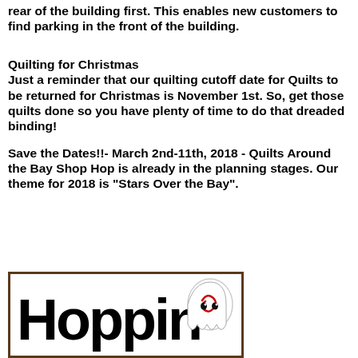rear of the building first.  This enables new customers to find parking in the front of the building.
Quilting for Christmas
Just a reminder that our quilting cutoff date for Quilts to be returned for Christmas is November 1st.  So, get those quilts done so you have plenty of time to do that dreaded binding!
Save the Dates!!- March 2nd-11th, 2018 - Quilts Around the Bay Shop Hop is already in the planning stages.  Our theme for 2018 is "Stars Over the Bay".
[Figure (illustration): Hopping logo with stylized text 'Hoppin' in bold black lettering and a ghost illustration with red swirl and black dots on white background, framed in a brown border.]